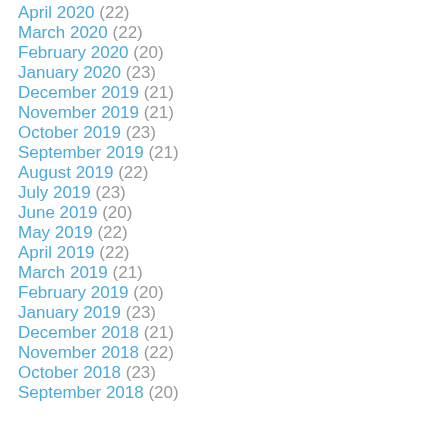April 2020 (22)
March 2020 (22)
February 2020 (20)
January 2020 (23)
December 2019 (21)
November 2019 (21)
October 2019 (23)
September 2019 (21)
August 2019 (22)
July 2019 (23)
June 2019 (20)
May 2019 (22)
April 2019 (22)
March 2019 (21)
February 2019 (20)
January 2019 (23)
December 2018 (21)
November 2018 (22)
October 2018 (23)
September 2018 (20)